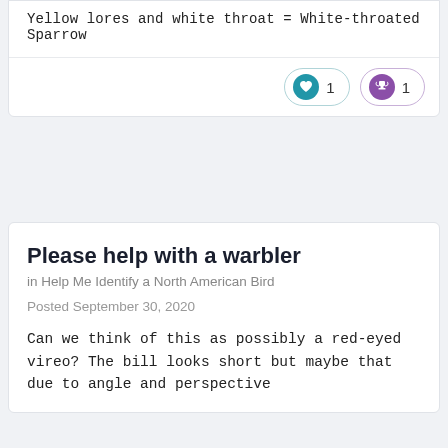Yellow lores and white throat = White-throated Sparrow
[Figure (other): Reaction buttons: heart icon with count 1 (blue), trophy icon with count 1 (purple)]
Please help with a warbler
in Help Me Identify a North American Bird
Posted September 30, 2020
Can we think of this as possibly a red-eyed vireo? The bill looks short but maybe that due to angle and perspective